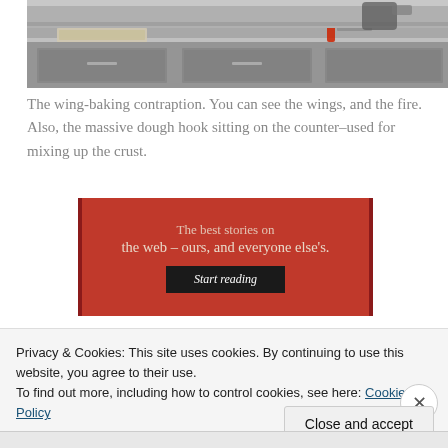[Figure (photo): A stainless steel kitchen counter/prep area showing a baking tray and a dough hook on the counter, with what appears to be fire or heating element visible. Industrial kitchen equipment.]
The wing-baking contraption. You can see the wings, and the fire. Also, the massive dough hook sitting on the counter–used for mixing up the crust.
[Figure (other): Red advertisement banner reading 'The best stories on the web – ours, and everyone else's.' with a 'Start reading' button.]
Privacy & Cookies: This site uses cookies. By continuing to use this website, you agree to their use.
To find out more, including how to control cookies, see here: Cookie Policy